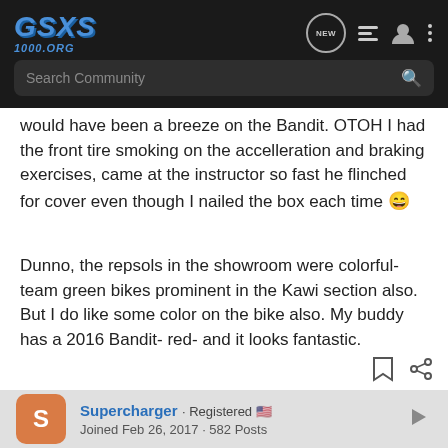GSXS 1000.ORG — Search Community
would have been a breeze on the Bandit. OTOH I had the front tire smoking on the accelleration and braking exercises, came at the instructor so fast he flinched for cover even though I nailed the box each time 😄
Dunno, the repsols in the showroom were colorful- team green bikes prominent in the Kawi section also. But I do like some color on the bike also. My buddy has a 2016 Bandit- red- and it looks fantastic.
Supercharger · Registered 🇺🇸
Joined Feb 26, 2017 · 582 Posts